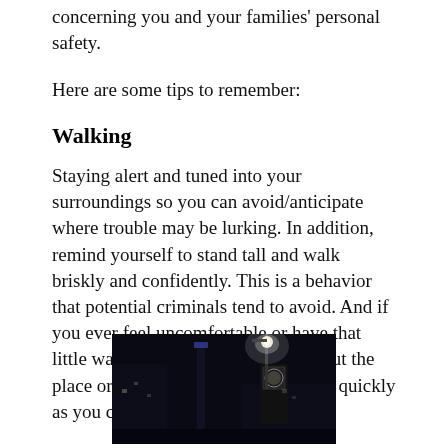concerning you and your families' personal safety.
Here are some tips to remember:
Walking
Staying alert and tuned into your surroundings so you can avoid/anticipate where trouble may be lurking. In addition, remind yourself to stand tall and walk briskly and confidently. This is a behavior that potential criminals tend to avoid. And if you ever feel uncomfortable or have that little warning feeling in your gut about the place or situation you are in, leave as quickly as you can!
[Figure (photo): Nighttime street scene with a bright streetlamp illuminating a dark urban environment with a tall building or tower in the background.]